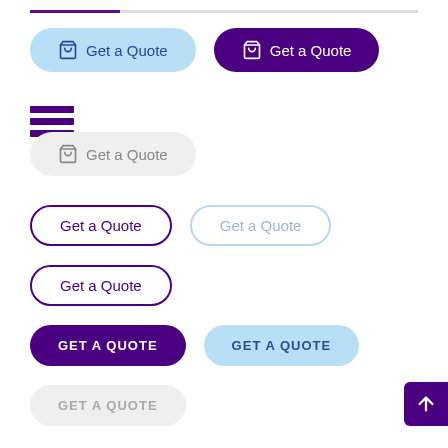[Figure (screenshot): UI component showcase showing various button styles for 'Get a Quote' / 'GET A QUOTE': filled light-blue with cart icon, filled dark-purple with cart icon, hamburger menu icon, filled light-gray with cart icon, outlined dark-purple, outlined light (disabled), outlined dark-purple (hover/focus), filled dark-purple uppercase, filled light-blue uppercase, filled light-gray uppercase (disabled). A scroll-to-top arrow button in dark purple appears bottom-right.]